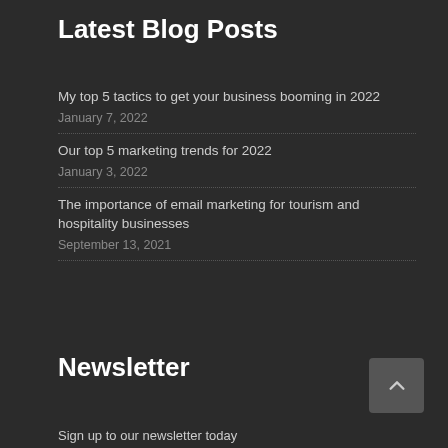Latest Blog Posts
My top 5 tactics to get your business booming in 2022
January 7, 2022
Our top 5 marketing trends for 2022
January 3, 2022
The importance of email marketing for tourism and hospitality businesses
September 13, 2021
Newsletter
Sign up to our newsletter today